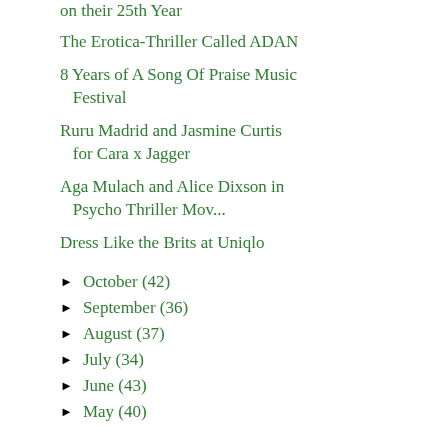on their 25th Year
The Erotica-Thriller Called ADAN
8 Years of A Song Of Praise Music Festival
Ruru Madrid and Jasmine Curtis for Cara x Jagger
Aga Mulach and Alice Dixson in Psycho Thriller Mov...
Dress Like the Brits at Uniqlo
► October (42)
► September (36)
► August (37)
► July (34)
► June (43)
► May (40)